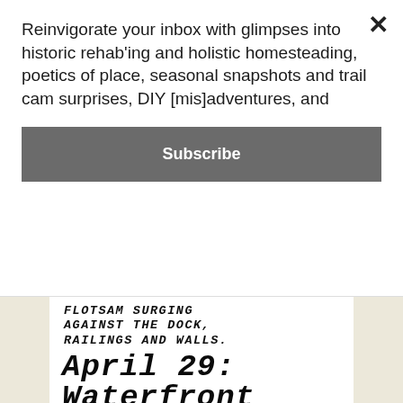Reinvigorate your inbox with glimpses into historic rehab'ing and holistic homesteading, poetics of place, seasonal snapshots and trail cam surprises, DIY [mis]adventures, and
Subscribe
FLOTSAM SURGING AGAINST THE DOCK, RAILINGS AND WALLS. (Essex-Charlotte Ferry Flooded Out)
April 29: Waterfront Damaged